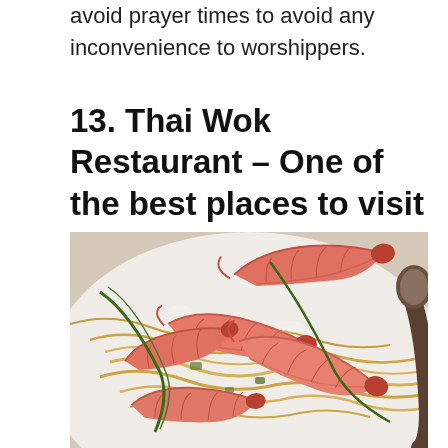avoid prayer times to avoid any inconvenience to worshippers.
13. Thai Wok Restaurant – One of the best places to visit in Maldives for foodies
[Figure (photo): A close-up photo of a seafood pasta dish with large prawns/shrimp on noodles, garnished with green onion, served in a white bowl with a dark spoon visible on the right side.]